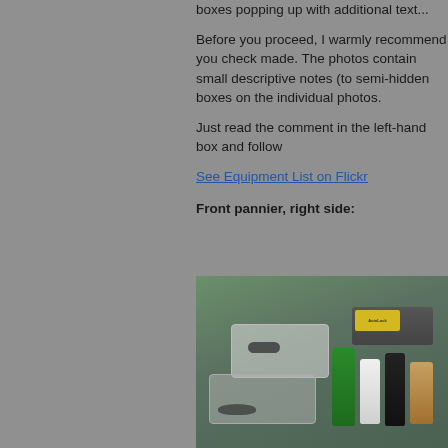boxes popping up with additional text...
Before you proceed, I warmly recommend you check made. The photos contain small descriptive notes (to semi-hidden boxes on the individual photos.
Just read the comment in the left-hand box and follow
See Equipment List on Flickr
Front pannier, right side:
[Figure (photo): Photo of front pannier contents laid out on a green surface, showing a clear plastic container with headphones, a lower container with bicycle inner tubes, an OFF insect repellent spray, a white bottle, a black SABRE spray, a brown/amber bottle, and a flat dark case with a yellow label sticker on the right side.]